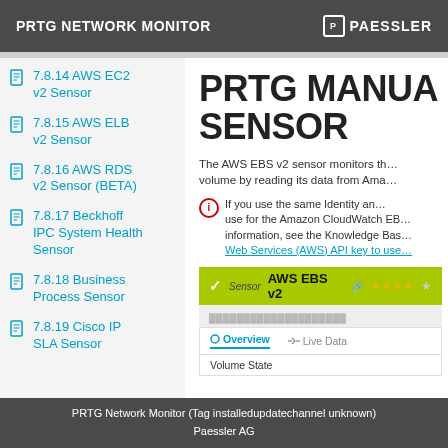PRTG NETWORK MONITOR | PAESSLER
7.8.14 AWS EC2 v2 Sensor
7.8.15 AWS ELB v2 Sensor
7.8.16 AWS RDS v2 Sensor (BETA)
7.8.17 Beckhoff IPC System Health Sensor
7.8.18 Business Process Sensor
7.8.19 Cisco IP SLA Sensor
PRTG MANUAL AWS EBS V2 SENSOR
The AWS EBS v2 sensor monitors the volume by reading its data from Ama...
If you use the same Identity and... use for the Amazon CloudWatch EB... information, see the Knowledge Bas... Web Services (AWS) API key to use...
[Figure (screenshot): PRTG sensor bar showing AWS EBS v2 sensor with green bar, checkmark, star rating, Overview and Live Data tabs, and Volume State row]
PRTG Network Monitor (Tag installedupdatechannel unknown)
Paessler AG